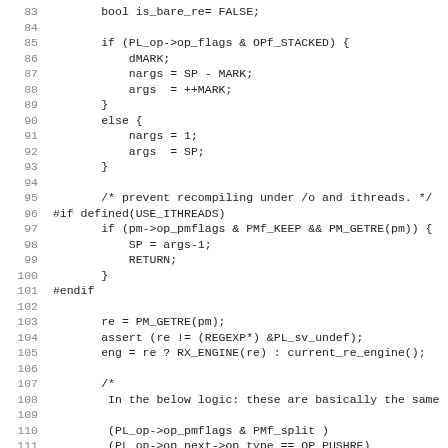Source code listing, lines 83-114, showing C/Perl XS code with line numbers on the left and code content on the right.